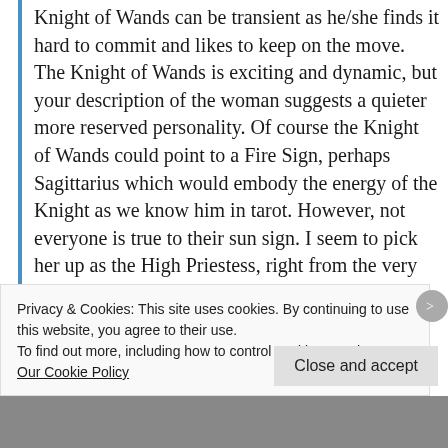Knight of Wands can be transient as he/she finds it hard to commit and likes to keep on the move. The Knight of Wands is exciting and dynamic, but your description of the woman suggests a quieter more reserved personality. Of course the Knight of Wands could point to a Fire Sign, perhaps Sagittarius which would embody the energy of the Knight as we know him in tarot. However, not everyone is true to their sun sign. I seem to pick her up as the High Priestess, right from the very start, so I do not think this is her per se, but I could be wrong. Usually when conducting such readings we would chat about
Privacy & Cookies: This site uses cookies. By continuing to use this website, you agree to their use.
To find out more, including how to control cookies, see here: Our Cookie Policy
Close and accept